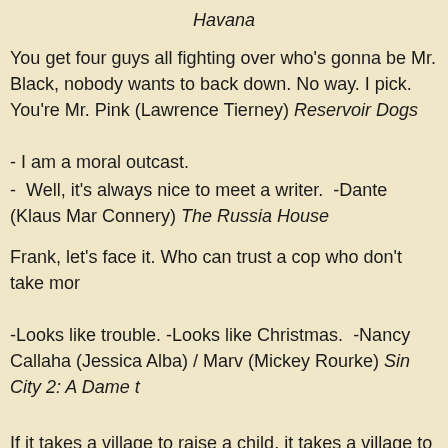Havana
You get four guys all fighting over who's gonna be Mr. Black, nobody wants to back down. No way. I pick. You're Mr. Pink (Lawrence Tierney) Reservoir Dogs
- I am a moral outcast.
-  Well, it's always nice to meet a writer.  -Dante (Klaus Mar Connery) The Russia House
Frank, let's face it. Who can trust a cop who don't take mor
-Looks like trouble. -Looks like Christmas.  -Nancy Callaha (Jessica Alba) / Marv (Mickey Rourke) Sin City 2: A Dame t
If it takes a village to raise a child, it takes a village to abus Mitchell Garabedian (Stanley Tucci) Spotlight